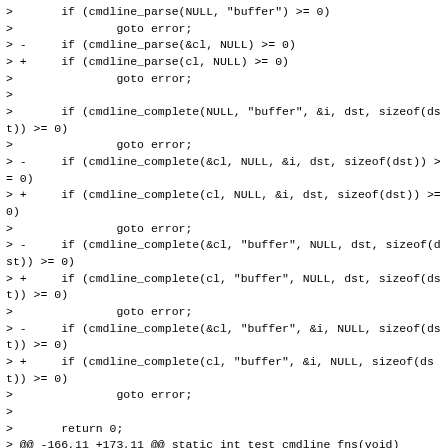>       if (cmdline_parse(NULL, "buffer") >= 0)
>               goto error;
> -     if (cmdline_parse(&cl, NULL) >= 0)
> +     if (cmdline_parse(cl, NULL) >= 0)
>               goto error;
>
>       if (cmdline_complete(NULL, "buffer", &i, dst, sizeof(dst)) >= 0)
>               goto error;
> -     if (cmdline_complete(&cl, NULL, &i, dst, sizeof(dst)) >= 0)
> +     if (cmdline_complete(cl, NULL, &i, dst, sizeof(dst)) >= 0)
>               goto error;
> -     if (cmdline_complete(&cl, "buffer", NULL, dst, sizeof(dst)) >= 0)
> +     if (cmdline_complete(cl, "buffer", NULL, dst, sizeof(dst)) >= 0)
>               goto error;
> -     if (cmdline_complete(&cl, "buffer", &i, NULL, sizeof(dst)) >= 0)
> +     if (cmdline_complete(cl, "buffer", &i, NULL, sizeof(dst)) >= 0)
>               goto error;
>
>       return 0;
> @@ -166,11 +173,11 @@ static int test_cmdline_fns(void)
>  {
>       cmdline_parse_ctx_t ctx;